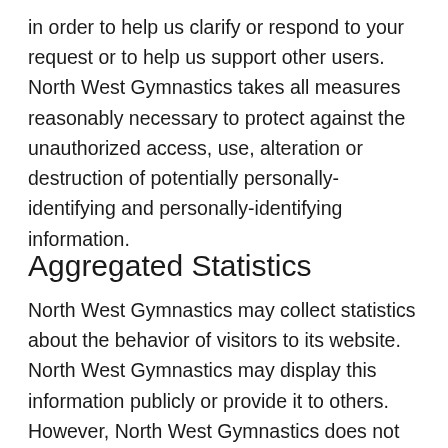in order to help us clarify or respond to your request or to help us support other users. North West Gymnastics takes all measures reasonably necessary to protect against the unauthorized access, use, alteration or destruction of potentially personally-identifying and personally-identifying information.
Aggregated Statistics
North West Gymnastics may collect statistics about the behavior of visitors to its website. North West Gymnastics may display this information publicly or provide it to others. However, North West Gymnastics does not